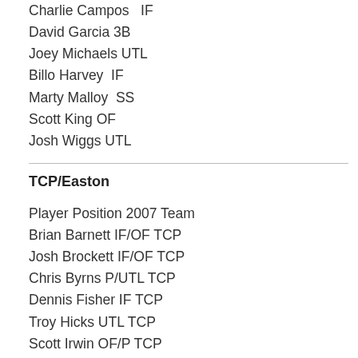Charlie Campos   IF
David Garcia 3B
Joey Michaels UTL
Billo Harvey  IF
Marty Malloy  SS
Scott King OF
Josh Wiggs UTL
TCP/Easton
Player Position 2007 Team
Brian Barnett IF/OF TCP
Josh Brockett IF/OF TCP
Chris Byrns P/UTL TCP
Dennis Fisher IF TCP
Troy Hicks UTL TCP
Scott Irwin OF/P TCP